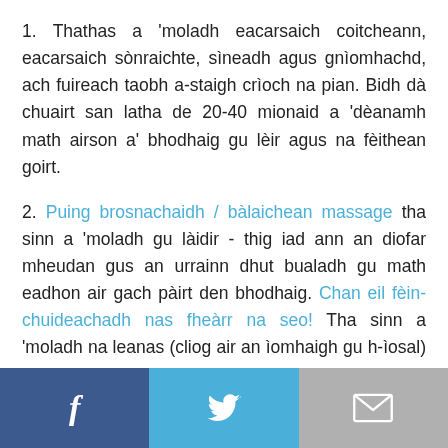1. Thathas a 'moladh eacarsaich coitcheann, eacarsaich sònraichte, sìneadh agus gnìomhachd, ach fuireach taobh a-staigh crìoch na pian. Bidh dà chuairt san latha de 20-40 mionaid a 'dèanamh math airson a' bhodhaig gu lèir agus na fèithean goirt.
2. Puing brosnachaidh / bàlaichean massage tha sinn a 'moladh gu làidir - thig iad ann an diofar mheudan gus an urrainn dhut bualadh gu math eadhon air gach pàirt den bhodhaig. Chan eil fèin-chuideachadh nas fheàrr na seo! Tha sinn a 'moladh na leanas (cliog air an ìomhaigh gu h-ìosal) - a tha na sheata iomlan de 5 bàlaichean puing brosnachaidh / massage ann an diofar
Facebook | Twitter | Email